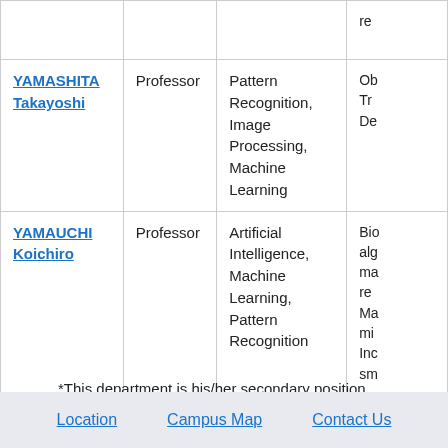| Name | Position | Research Areas | Details |
| --- | --- | --- | --- |
|  |  |  | re... |
| YAMASHITA Takayoshi | Professor | Pattern Recognition, Image Processing, Machine Learning | Ob... Tr... De... |
| YAMAUCHI Koichiro | Professor | Artificial Intelligence, Machine Learning, Pattern Recognition | Bio... alg... ma... re... Ma... mi... Inc... sm... |
*This department is his/her secondary position.
Location   Campus Map   Contact Us